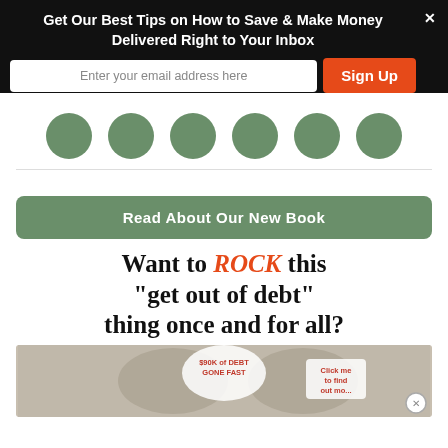Get Our Best Tips on How to Save & Make Money Delivered Right to Your Inbox
Enter your email address here
Sign Up
[Figure (illustration): Six dark green social media profile circles in a row]
Read About Our New Book
Want to ROCK this "get out of debt" thing once and for all?
[Figure (photo): Book promotion image showing two people with speech bubbles reading '$90K of DEBT GONE FAST' and 'Click me to find out mo...']